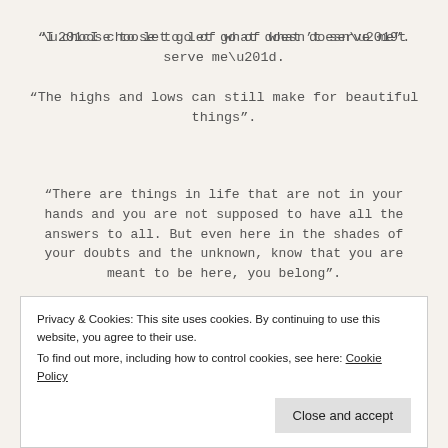“I choose to let go of what doesn’t serve me”.
“The highs and lows can still make for beautiful things”.
“There are things in life that are not in your hands and you are not supposed to have all the answers to all. But even here in the shades of your doubts and the unknown, know that you are meant to be here, you belong”.
“Not all storms come to disrupt your life, some
Privacy & Cookies: This site uses cookies. By continuing to use this website, you agree to their use.
To find out more, including how to control cookies, see here: Cookie Policy
Close and accept